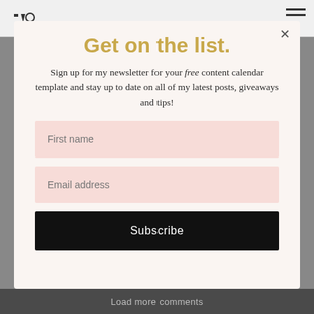Get on the list.
Sign up for my newsletter for your free content calendar template and stay up to date on all of my latest posts, giveaways and tips!
First name
Email address
Subscribe
Load more comments